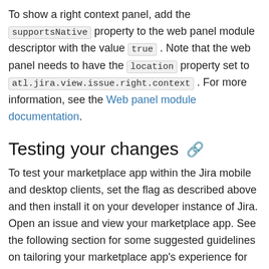To show a right context panel, add the supportsNative property to the web panel module descriptor with the value true . Note that the web panel needs to have the location property set to atl.jira.view.issue.right.context . For more information, see the Web panel module documentation.
Testing your changes
To test your marketplace app within the Jira mobile and desktop clients, set the flag as described above and then install it on your developer instance of Jira. Open an issue and view your marketplace app. See the following section for some suggested guidelines on tailoring your marketplace app's experience for smaller form factors (on mobile).
Once you are satisfied with your marketplace app's user experience, you can publish your